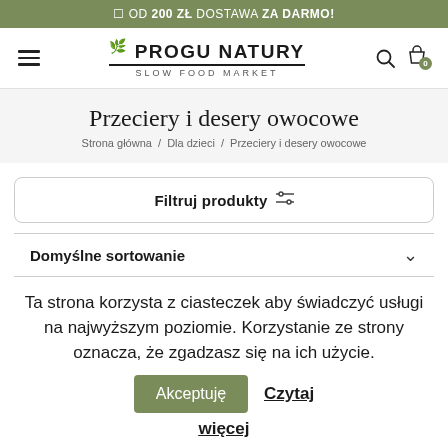OD 200 ZŁ DOSTAWA ZA DARMO!
[Figure (logo): U PROGU NATURY - SLOW FOOD MARKET logo with leaf icon, hamburger menu, search and cart icons]
Przeciery i desery owocowe
Strona główna / Dla dzieci / Przeciery i desery owocowe
Filtruj produkty
Domyślne sortowanie
Ta strona korzysta z ciasteczek aby świadczyć usługi na najwyższym poziomie. Korzystanie ze strony oznacza, że zgadzasz się na ich użycie. Akceptuję Czytaj więcej